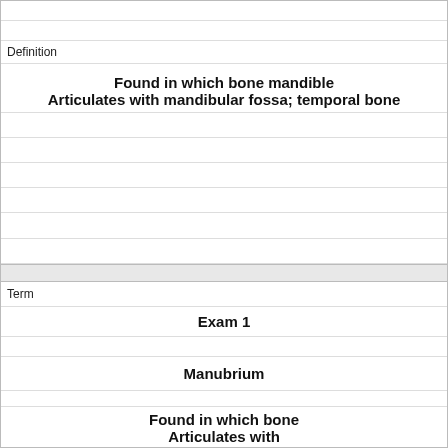Definition
Found in which bone mandible
Articulates with mandibular fossa; temporal bone
Term
Exam 1
Manubrium
Found in which bone
Articulates with